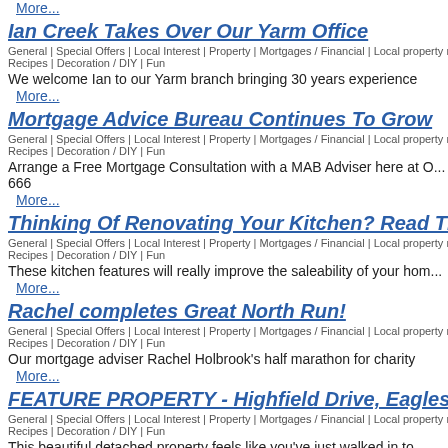More...
Ian Creek Takes Over Our Yarm Office
General | Special Offers | Local Interest | Property | Mortgages / Financial | Local property n... Recipes | Decoration / DIY | Fun
We welcome Ian to our Yarm branch bringing 30 years experience
More...
Mortgage Advice Bureau Continues To Grow
General | Special Offers | Local Interest | Property | Mortgages / Financial | Local property n... Recipes | Decoration / DIY | Fun
Arrange a Free Mortgage Consultation with a MAB Adviser here at O... 666
More...
Thinking Of Renovating Your Kitchen? Read Th...
General | Special Offers | Local Interest | Property | Mortgages / Financial | Local property n... Recipes | Decoration / DIY | Fun
These kitchen features will really improve the saleability of your hom...
More...
Rachel completes Great North Run!
General | Special Offers | Local Interest | Property | Mortgages / Financial | Local property n... Recipes | Decoration / DIY | Fun
Our mortgage adviser Rachel Holbrook's half marathon for charity
More...
FEATURE PROPERTY - Highfield Drive, Eagleso...
General | Special Offers | Local Interest | Property | Mortgages / Financial | Local property n... Recipes | Decoration / DIY | Fun
This beautiful detached property feels like you've just walked in to... magazine. In a sought after location just off Yarm Road, this perfec... has the full package.
More...